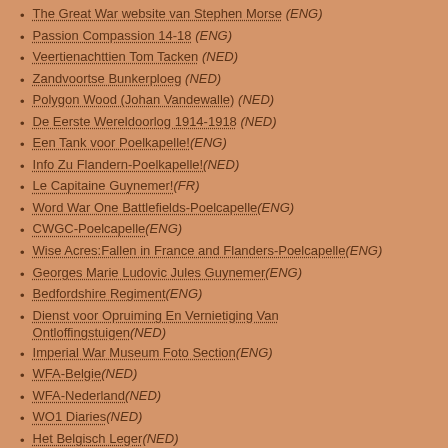The Great War website van Stephen Morse (ENG)
Passion Compassion 14-18 (ENG)
Veertienachttien Tom Tacken (NED)
Zandvoortse Bunkerploeg (NED)
Polygon Wood (Johan Vandewalle) (NED)
De Eerste Wereldoorlog 1914-1918 (NED)
Een Tank voor Poelkapelle!(ENG)
Info Zu Flandern-Poelkapelle!(NED)
Le Capitaine Guynemer!(FR)
Word War One Battlefields-Poelcapelle(ENG)
CWGC-Poelcapelle(ENG)
Wise Acres:Fallen in France and Flanders-Poelcapelle(ENG)
Georges Marie Ludovic Jules Guynemer(ENG)
Bedfordshire Regiment(ENG)
Dienst voor Opruiming En Vernietiging Van Ontloffingstuigen(NED)
Imperial War Museum Foto Section(ENG)
WFA-Belgie(NED)
WFA-Nederland(NED)
WO1 Diaries(NED)
Het Belgisch Leger(NED)